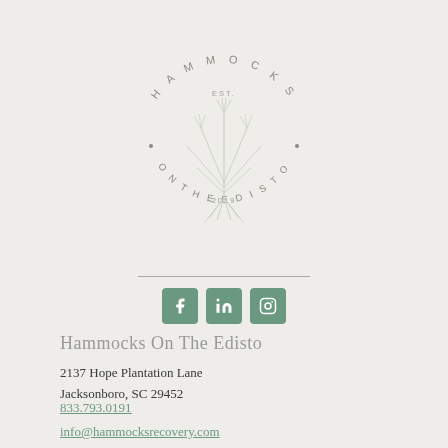[Figure (logo): Hammocks On The Edisto circular logo with arched text reading HAMMOCKS on top and ON THE EDISTO on bottom, EST. and 2019 in the center, with a botanical grass/reed illustration in the middle]
Hammocks On The Edisto
2137 Hope Plantation Lane
Jacksonboro, SC 29452
833.793.0191
info@hammocksrecovery.com